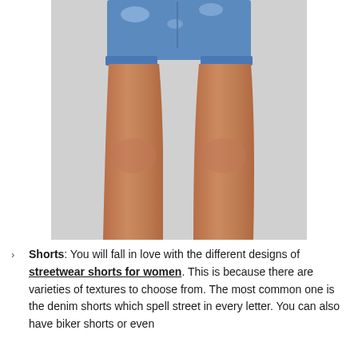[Figure (photo): Photo of a person's lower body wearing distressed denim cutoff shorts, showing legs from hips to knees against a light gray background.]
Shorts: You will fall in love with the different designs of streetwear shorts for women. This is because there are varieties of textures to choose from. The most common one is the denim shorts which spell street in every letter. You can also have biker shorts or even